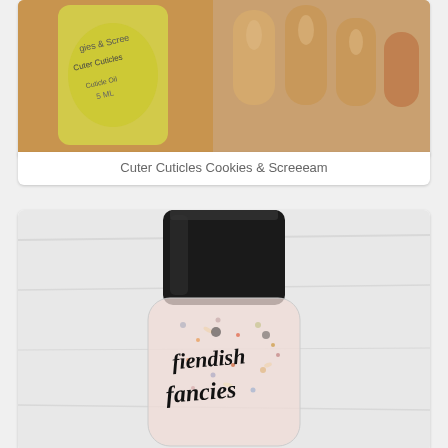[Figure (photo): Photo of a small yellow-green cuticle oil bottle labeled 'Cuter Cuticles' next to manicured nails in a warm beige/tan nail polish color.]
Cuter Cuticles Cookies & Screeeam
[Figure (photo): Photo of a clear nail polish bottle with glitter/confetti particles, labeled 'fiendish fancies' in black handwritten script, with a black cap, on a white fabric background.]